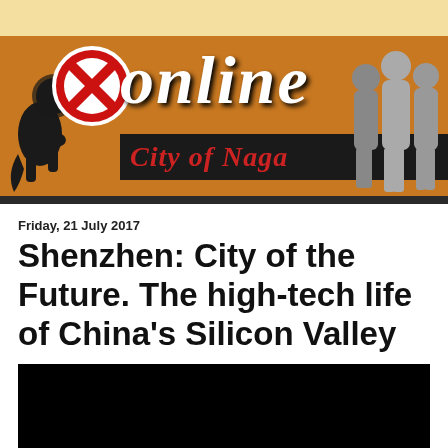[Figure (logo): Online City of Naga website banner with lion heraldic symbol, red circle with X, stylized 'online' text, 'City of Naga' subtitle on black stripe, and grayscale statues silhouette on right]
Friday, 21 July 2017
Shenzhen: City of the Future. The high-tech life of China's Silicon Valley
[Figure (photo): Black rectangle representing an embedded video or image placeholder]